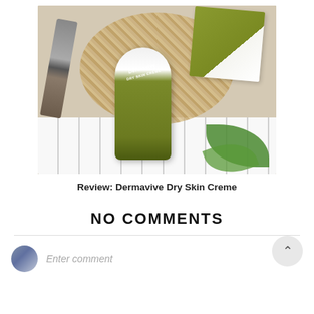[Figure (photo): Product photo of Dermavive Dry Skin Creme tube and box, displayed on a wicker placemat with makeup brushes, a green leaf, and white wooden slats in the background.]
Review: Dermavive Dry Skin Creme
NO COMMENTS
Enter comment